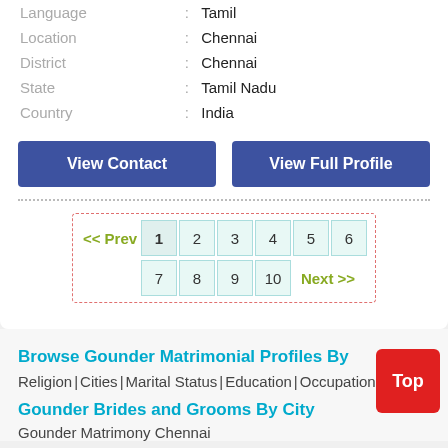| Language | : | Tamil |
| Location | : | Chennai |
| District | : | Chennai |
| State | : | Tamil Nadu |
| Country | : | India |
View Contact | View Full Profile
[Figure (other): Pagination bar with << Prev, 1(active), 2, 3, 4, 5, 6, 7, 8, 9, 10, Next >>]
Browse Gounder Matrimonial Profiles By
Religion | Cities | Marital Status | Education | Occupation
Gounder Brides and Grooms By City
Gounder Matrimony Chennai